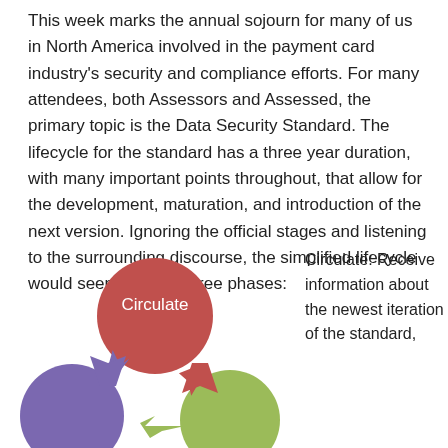This week marks the annual sojourn for many of us in North America involved in the payment card industry's security and compliance efforts. For many attendees, both Assessors and Assessed, the primary topic is the Data Security Standard. The lifecycle for the standard has a three year duration, with many important points throughout, that allow for the development, maturation, and introduction of the next version. Ignoring the official stages and listening to the surrounding discourse, the simplified lifecycle would seem to have three phases:
[Figure (flowchart): Circular diagram showing three phases: Circulate (red/pink circle at top), a purple circle at bottom-left, and a green circle at bottom-right, connected by colored arrows forming a cycle.]
Circulate: Receive information about the newest iteration of the standard,